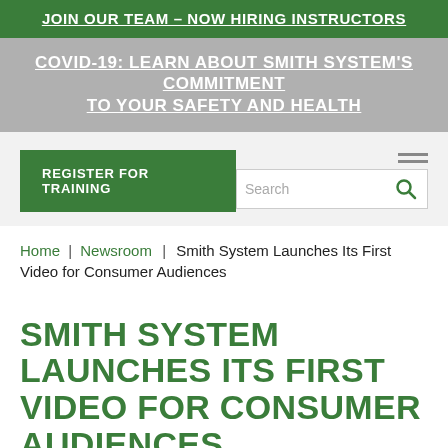JOIN OUR TEAM – NOW HIRING INSTRUCTORS
COVID-19: LEARN ABOUT SMITH SYSTEM'S COMMITMENT TO YOUR SAFETY AND HEALTH
[Figure (screenshot): Navigation bar with 'REGISTER FOR TRAINING' green button on the left and a search box with magnifying glass icon on the right, plus hamburger menu lines above search]
Home | Newsroom | Smith System Launches Its First Video for Consumer Audiences
SMITH SYSTEM LAUNCHES ITS FIRST VIDEO FOR CONSUMER AUDIENCES
APRIL 5, 2018